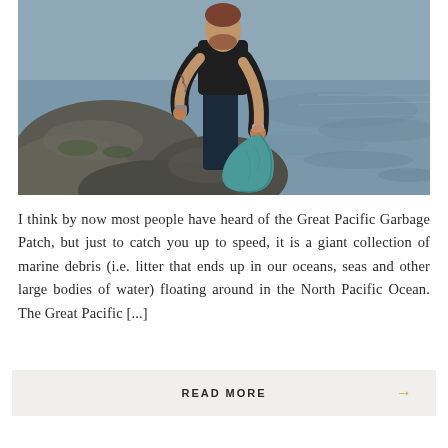[Figure (photo): A tattooed man in a dark t-shirt bending over rocky shoreline, picking up trash into a teal/blue garbage bag, with water visible in the background.]
I think by now most people have heard of the Great Pacific Garbage Patch, but just to catch you up to speed, it is a giant collection of marine debris (i.e. litter that ends up in our oceans, seas and other large bodies of water) floating around in the North Pacific Ocean. The Great Pacific [...]
READ MORE →